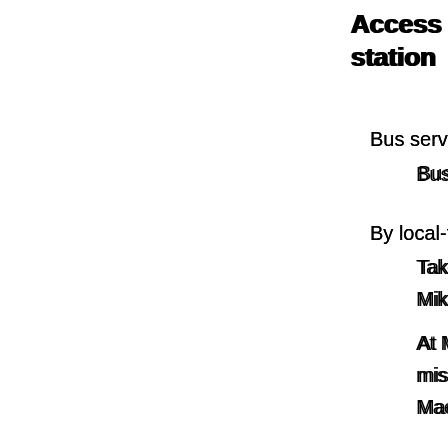Access to Irago Sea-Park station
Bus service
Bus service by the confe...
By local-train + local bus
Take Atsumi-line from To... Mikawa-Tahara station.
At Mikawa-Tahara statio... misaki. After about 60mi... Mae' bus stop.
By local bus
At the No.1 bus stop in T... bound for Irago-misaki (... hotel at 'Irago Sea Park ...
Link: Toyohashi Railway...
Link: Toyotetsu bus web...